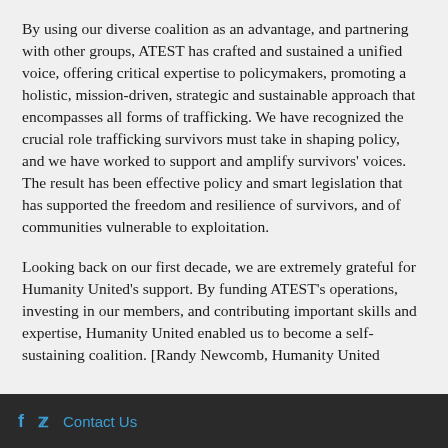By using our diverse coalition as an advantage, and partnering with other groups, ATEST has crafted and sustained a unified voice, offering critical expertise to policymakers, promoting a holistic, mission-driven, strategic and sustainable approach that encompasses all forms of trafficking. We have recognized the crucial role trafficking survivors must take in shaping policy, and we have worked to support and amplify survivors' voices. The result has been effective policy and smart legislation that has supported the freedom and resilience of survivors, and of communities vulnerable to exploitation.
Looking back on our first decade, we are extremely grateful for Humanity United's support. By funding ATEST's operations, investing in our members, and contributing important skills and expertise, Humanity United enabled us to become a self-sustaining coalition. [Randy Newcomb, Humanity United
f  Contact Us